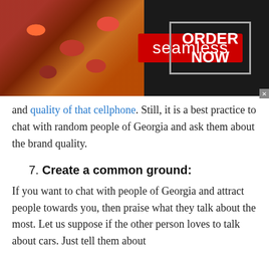[Figure (screenshot): Seamless food delivery advertisement banner with pizza image on left, red Seamless logo in center, and ORDER NOW button in white bordered box on right, on dark background]
and quality of that cellphone. Still, it is a best practice to chat with random people of Georgia and ask them about the brand quality.
7. Create a common ground:
If you want to chat with people of Georgia and attract people towards you, then praise what they talk about the most. Let us suppose if the other person loves to talk about cars. Just tell them about
[Figure (screenshot): Two bottom advertisement items: 'Shop the Best New & Used Car Deals in Your Area?' by Car Deals Near You with a luxury SUV image, and 'These Pictures Was Taken Minutes Before The Beginning Of The Disaster!' by BillyNews with a road/flooding scene image]